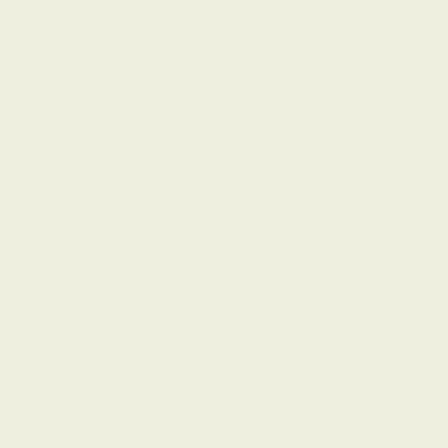into wrogs, let it on Sunday w though I believe I had. It was a a striped silk ribband to it, and
Cross Examination.
I understand that you had this w handkerchief and other things?
This church you went to I unde
Had you occasion oftentimes w into your pocket to pull out yo recollect particulars; I know I w
Whether in your judgement it w into your pocket to pull out yo watch? - I cannot disprove it; I
It is possible you may have los impossible; I cannot say how I
WILLIAM PAYNE sworn.
I was at St. Sepulchre's church
Who preached there? - Dr. My